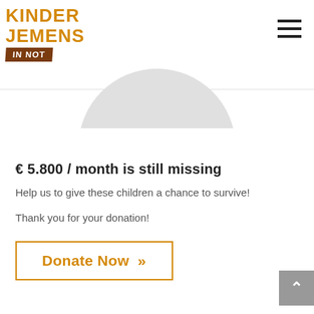KINDER JEMENS IN NOT
[Figure (illustration): Partial circle/arc shape visible at top center, light grey circular element partially cropped at top of content area]
€ 5.800 / month is still missing
Help us to give these children a chance to survive!
Thank you for your donation!
Donate Now »